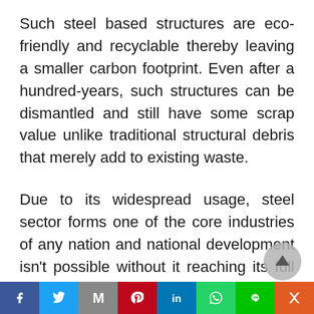Such steel based structures are eco-friendly and recyclable thereby leaving a smaller carbon footprint. Even after a hundred-years, such structures can be dismantled and still have some scrap value unlike traditional structural debris that merely add to existing waste.
Due to its widespread usage, steel sector forms one of the core industries of any nation and national development isn't possible without it reaching its full potential. Fortunately, India is blessed with one of the largest iron ore reserves – which is one of the